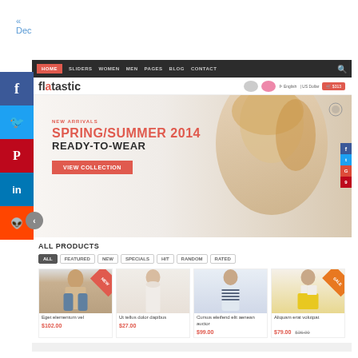« Dec
[Figure (screenshot): Screenshot of a fashion e-commerce website called 'flatastic' showing navigation bar, hero banner with 'NEW ARRIVALS / SPRING/SUMMER 2014 / READY-TO-WEAR / VIEW COLLECTION', and product grid below with 'ALL PRODUCTS' section and filter tabs (ALL, FEATURED, NEW, SPECIALS, HIT, RANDOM, RATED) and 4 product cards with female model photos and prices.]
[Figure (infographic): Social media sidebar on the left showing buttons for Facebook, Twitter, Pinterest, LinkedIn, and Reddit]